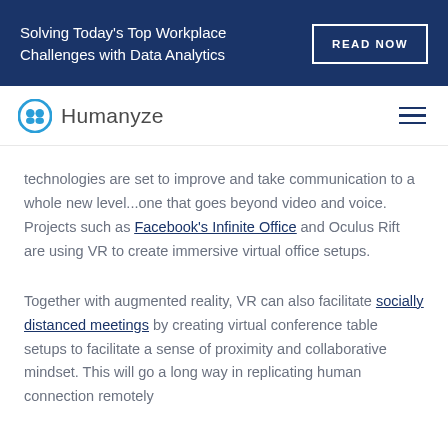Solving Today's Top Workplace Challenges with Data Analytics | READ NOW
[Figure (logo): Humanyze logo with circular icon and wordmark]
technologies are set to improve and take communication to a whole new level...one that goes beyond video and voice. Projects such as Facebook's Infinite Office and Oculus Rift are using VR to create immersive virtual office setups.
Together with augmented reality, VR can also facilitate socially distanced meetings by creating virtual conference table setups to facilitate a sense of proximity and collaborative mindset. This will go a long way in replicating human connection remotely